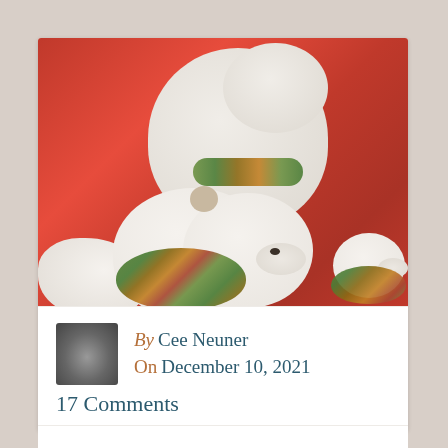[Figure (photo): Three white ceramic polar bear figurines with decorative green and red Christmas wreaths around their necks, photographed against a vivid red fabric background.]
By Cee Neuner
On December 10, 2021
17 Comments